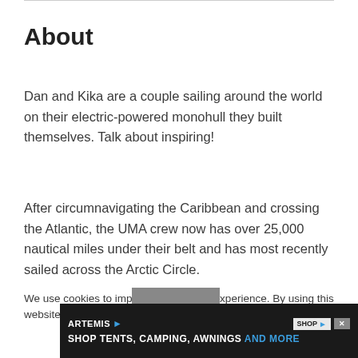About
Dan and Kika are a couple sailing around the world on their electric-powered monohull they built themselves. Talk about inspiring!
After circumnavigating the Caribbean and crossing the Atlantic, the UMA crew now has over 25,000 nautical miles under their belt and has most recently sailed across the Arctic Circle.
We use cookies to improve the website experience. By using this website you agree to our privacy policy.
[Figure (screenshot): Advertisement banner for Artemis: SHOP TENTS, CAMPING, AWNINGS AND MORE]